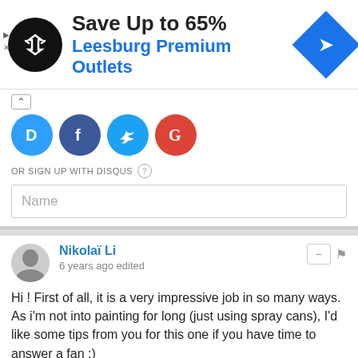[Figure (other): Advertisement banner: black circle logo with arrows symbol, 'Save Up to 65%' in bold dark text, 'Leesburg Premium Outlets' in blue text, blue diamond arrow icon on right]
[Figure (other): Social media login icons row: Disqus (blue D), Facebook (blue F), Twitter (blue bird), Google (red G)]
OR SIGN UP WITH DISQUS
Name
Nikolaï Li
6 years ago edited
Hi ! First of all, it is a very impressive job in so many ways. As i'm not into painting for long (just using spray cans), I'd like some tips from you for this one if you have time to answer a fan :)
- For the Amethyst Purple, what did you use to paint really small hollow/cavity (paintbrush, masking tape, ?)
- Did you use gold leaf or titan gold for the big parts ?